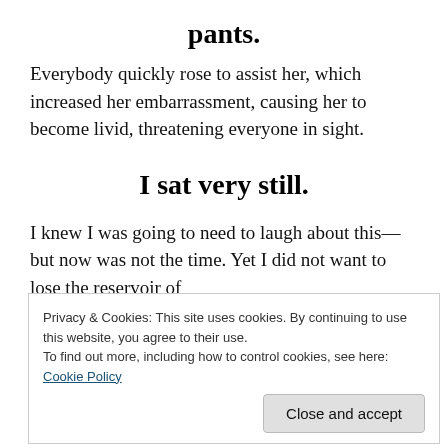pants.
Everybody quickly rose to assist her, which increased her embarrassment, causing her to become livid, threatening everyone in sight.
I sat very still.
I knew I was going to need to laugh about this—but now was not the time. Yet I did not want to lose the reservoir of humor building up inside me.
Privacy & Cookies: This site uses cookies. By continuing to use this website, you agree to their use.
To find out more, including how to control cookies, see here: Cookie Policy